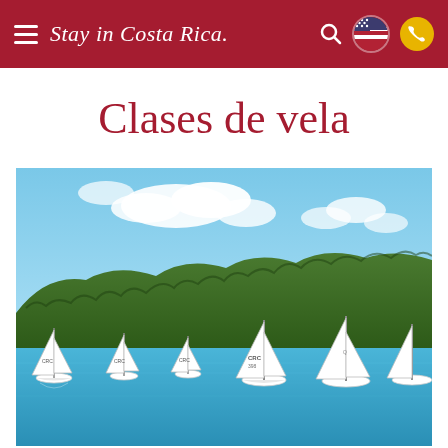Stay in Costa Rica.
Clases de vela
[Figure (photo): Group of small sailing boats with white sails labeled CRC on a calm blue bay with green forested hills in the background and a partly cloudy sky. Sailing class scene in Costa Rica.]